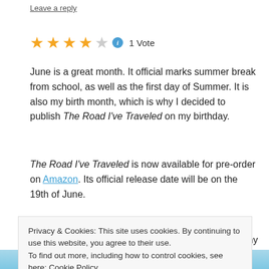Leave a reply
★★★★☆ ℹ 1 Vote
June is a great month. It official marks summer break from school, as well as the first day of Summer. It is also my birth month, which is why I decided to publish The Road I've Traveled on my birthday.
The Road I've Traveled is now available for pre-order on Amazon. Its official release date will be on the 19th of June.
I absolutely love the cover. The anchor represents my time in
Privacy & Cookies: This site uses cookies. By continuing to use this website, you agree to their use.
To find out more, including how to control cookies, see here: Cookie Policy
Close and accept